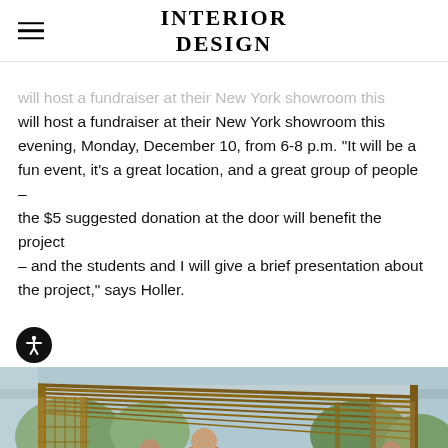INTERIOR DESIGN
will host a fundraiser at their New York showroom this evening, Monday, December 10, from 6-8 p.m. “It will be a fun event, it’s a great location, and a great group of people – the $5 suggested donation at the door will benefit the project – and the students and I will give a brief presentation about the project,” says Holler.
[Figure (photo): Workers inside an open-air wooden-framed structure resembling a market pavilion with latticed wood walls and a corrugated roof. A man in an orange shirt stands in the center holding a tool. Others work around crates, barrels, and various goods.]